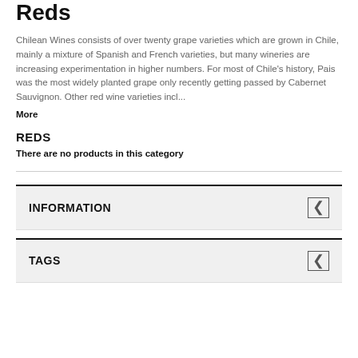Reds
Chilean Wines consists of over twenty grape varieties which are grown in Chile, mainly a mixture of Spanish and French varieties, but many wineries are increasing experimentation in higher numbers. For most of Chile's history, Pais was the most widely planted grape only recently getting passed by Cabernet Sauvignon. Other red wine varieties incl...
More
REDS
There are no products in this category
INFORMATION
TAGS